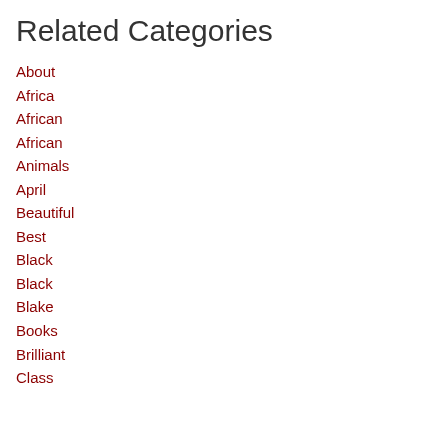Related Categories
About
Africa
African
African
Animals
April
Beautiful
Best
Black
Black
Blake
Books
Brilliant
Class